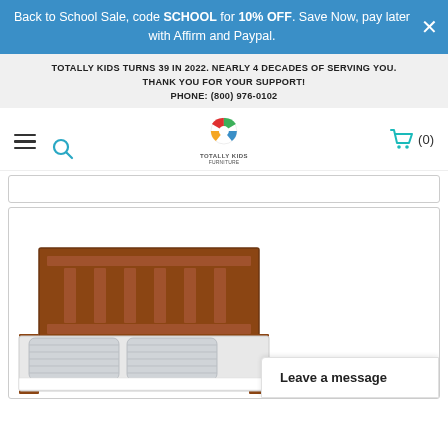Back to School Sale, code SCHOOL for 10% OFF. Save Now, pay later with Affirm and Paypal.
TOTALLY KIDS TURNS 39 IN 2022. NEARLY 4 DECADES OF SERVING YOU. THANK YOU FOR YOUR SUPPORT! PHONE: (800) 976-0102
[Figure (logo): Totally Kids Furniture logo - colorful circular icon with globe design and text TOTALLY KIDS FURNITURE below]
[Figure (photo): Wooden bed frame with headboard in cherry/walnut finish, shown with striped bedding/pillows - partial view]
Leave a message